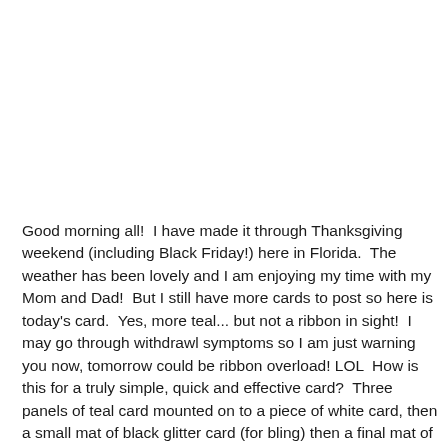Good morning all!  I have made it through Thanksgiving weekend (including Black Friday!) here in Florida.  The weather has been lovely and I am enjoying my time with my Mom and Dad!  But I still have more cards to post so here is today's card.  Yes, more teal... but not a ribbon in sight!  I may go through withdrawl symptoms so I am just warning you now, tomorrow could be ribbon overload! LOL  How is this for a truly simple, quick and effective card?  Three panels of teal card mounted on to a piece of white card, then a small mat of black glitter card (for bling) then a final mat of black card.  I cut the large butterfly from plain black card using the gorgeous butterfly die from the Fanciful Flight set.  I used the smaller butterfly from the set and cut three of them from black glitter card.  I added some black rhinestone swirls to look like the flight path of the large butterfly.  Stamped the lovely saying from the Garden Sayings set and embossed it